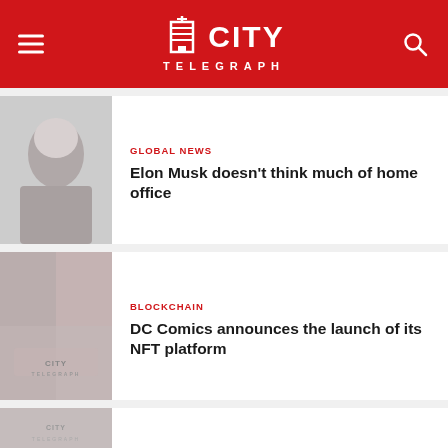CITY TELEGRAPH
[Figure (photo): Thumbnail photo of Elon Musk]
GLOBAL NEWS
Elon Musk doesn't think much of home office
[Figure (photo): Thumbnail photo related to DC Comics NFT]
BLOCKCHAIN
DC Comics announces the launch of its NFT platform
[Figure (photo): Partial thumbnail of another article]